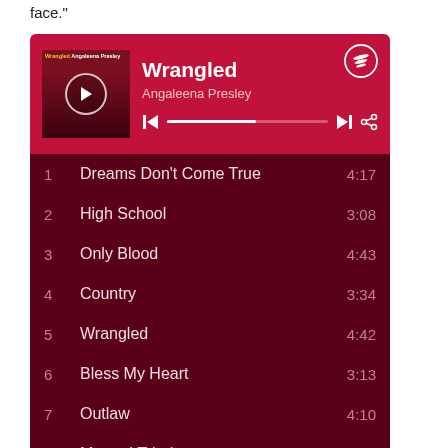face."
[Figure (screenshot): Spotify album player widget showing 'Wrangled' by Angaleena Presley with tracklist including 10 songs with durations]
| # | Track | Duration |
| --- | --- | --- |
| 1 | Dreams Don't Come True | 4:17 |
| 2 | High School | 3:08 |
| 3 | Only Blood | 4:43 |
| 4 | Country | 3:34 |
| 5 | Wrangled | 4:42 |
| 6 | Bless My Heart | 3:13 |
| 7 | Outlaw | 4:10 |
| 8 | Mama I Tried | 4:02 |
| 9 | Cheer up Little Darling | 4:40 |
| 10 | Groundswell | 3:34 |